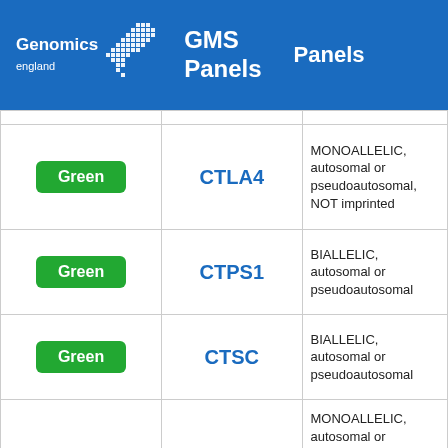Genomics England GMS Panels Panels
| Color | Gene | Info |
| --- | --- | --- |
| Green | CTLA4 | MONOALLELIC, autosomal or pseudoautosomal, NOT imprinted |
| Green | CTPS1 | BIALLELIC, autosomal or pseudoautosomal |
| Green | CTSC | BIALLELIC, autosomal or pseudoautosomal |
| Green | CXCR4 | MONOALLELIC, autosomal or pseudoautosomal |